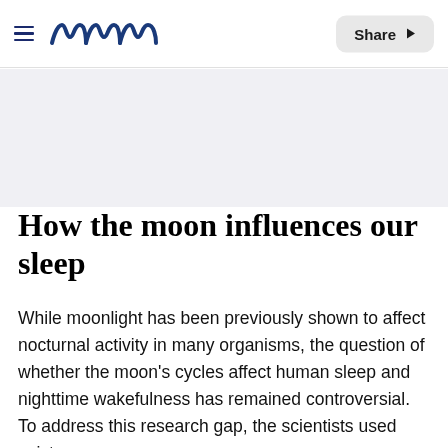meaww — Share
[Figure (photo): Gray placeholder image area below the navigation bar]
How the moon influences our sleep
While moonlight has been previously shown to affect nocturnal activity in many organisms, the question of whether the moon's cycles affect human sleep and nighttime wakefulness has remained controversial. To address this research gap, the scientists used wrist